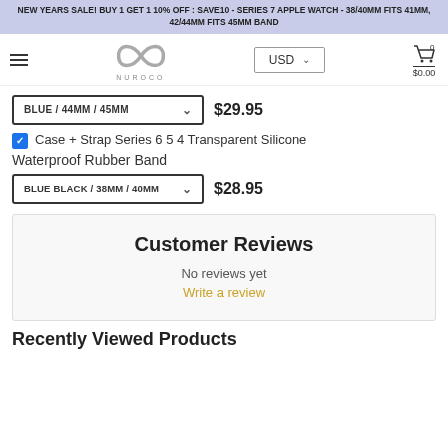NEW YEARS SALE! BUY 1 GET 1 10% OFF : SAVE10 - SERIES 7 APPLE WATCH - 38/40MM FITS 41MM, 42/44MM FITS 45MM BAND
[Figure (logo): Nuroco infinity loop logo with hamburger menu, USD currency selector, and cart showing $0.00]
BLUE / 44MM / 45MM   $29.95
Case + Strap Series 6 5 4 Transparent Silicone
Waterproof Rubber Band
BLUE BLACK / 38MM / 40MM   $28.95
Customer Reviews
No reviews yet
Write a review
Recently Viewed Products